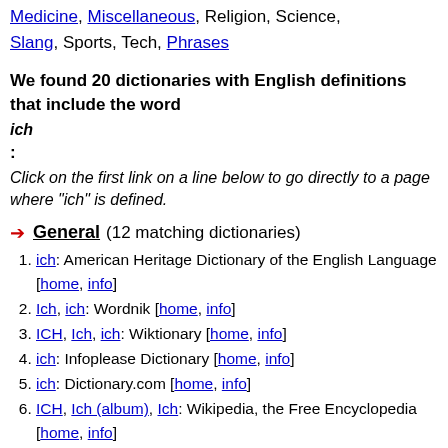Medicine, Miscellaneous, Religion, Science, Slang, Sports, Tech, Phrases
We found 20 dictionaries with English definitions that include the word ich: Click on the first link on a line below to go directly to a page where "ich" is defined.
General (12 matching dictionaries)
ich: American Heritage Dictionary of the English Language [home, info]
Ich, ich: Wordnik [home, info]
ICH, Ich, ich: Wiktionary [home, info]
ich: Infoplease Dictionary [home, info]
ich: Dictionary.com [home, info]
ICH, Ich (album), Ich: Wikipedia, the Free Encyclopedia [home, info]
Ich: Online Plain Text English Dictionary [home, info]
ich: Webster's Revised Unabridged, 1913